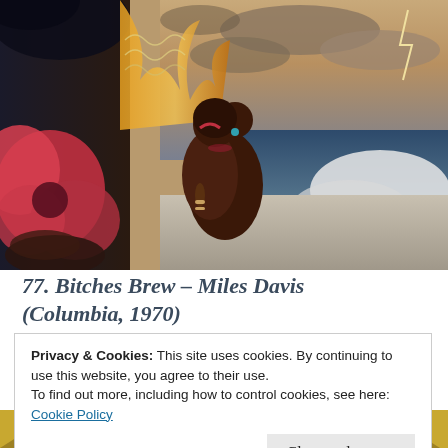[Figure (illustration): Album cover artwork for Miles Davis 'Bitches Brew' — two figures embracing, seen from behind, against a surreal landscape with flowers on the left, ocean waves on the right, and a dramatic sky with lightning.]
77. Bitches Brew – Miles Davis (Columbia, 1970)
Privacy & Cookies: This site uses cookies. By continuing to use this website, you agree to their use.
To find out more, including how to control cookies, see here: Cookie Policy
Close and accept